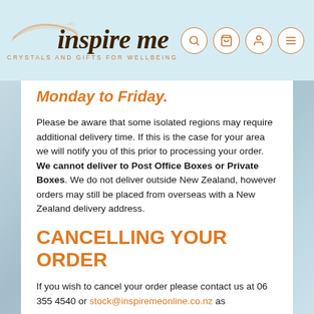[Figure (logo): Inspire Me logo with orange swirl graphic, dark serif italic text 'inspire me', tagline 'CRYSTALS AND GIFTS FOR WELLBEING']
inspire me — CRYSTALS AND GIFTS FOR WELLBEING
Monday to Friday.
Please be aware that some isolated regions may require additional delivery time. If this is the case for your area we will notify you of this prior to processing your order. We cannot deliver to Post Office Boxes or Private Boxes. We do not deliver outside New Zealand, however orders may still be placed from overseas with a New Zealand delivery address.
CANCELLING YOUR ORDER
If you wish to cancel your order please contact us at 06 355 4540 or stock@inspiremeonline.co.nz as